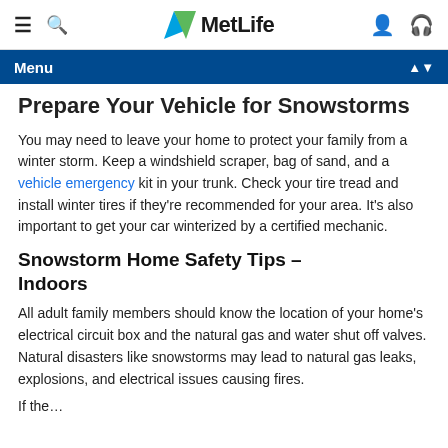MetLife navigation bar with hamburger menu, search icon, MetLife logo, user icon, and headset icon
Menu
Prepare Your Vehicle for Snowstorms
You may need to leave your home to protect your family from a winter storm. Keep a windshield scraper, bag of sand, and a vehicle emergency kit in your trunk. Check your tire tread and install winter tires if they're recommended for your area. It's also important to get your car winterized by a certified mechanic.
Snowstorm Home Safety Tips – Indoors
All adult family members should know the location of your home's electrical circuit box and the natural gas and water shut off valves. Natural disasters like snowstorms may lead to natural gas leaks, explosions, and electrical issues causing fires.
If the…